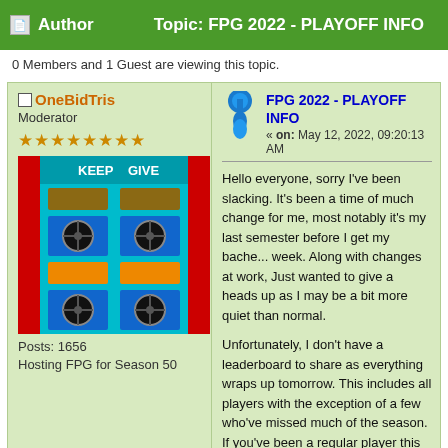Author | Topic: FPG 2022 - PLAYOFF INFO
0 Members and 1 Guest are viewing this topic.
OneBidTris
Moderator
Posts: 1656
Hosting FPG for Season 50
FPG 2022 - PLAYOFF INFO
« on: May 12, 2022, 09:20:13 AM
Hello everyone, sorry I've been slacking. It's been a time of much change for me, most notably it's my last semester before I get my bachelor's, wrapping up this week. Along with changes at work, I've been quite busy. Just wanted to give a heads up as I may be a bit more quiet than normal.

Unfortunately, I don't have a leaderboard to share as everything wraps up tomorrow. This will include all players with the exception of a few who've missed much of the season. If you've been a regular player this season or in the past, you're probably fine. If you haven't been in the past, here's a breakdown.

Key cash will not be awarded, nor will... Everything else is still in play, however... picks (if you have any left) and the...